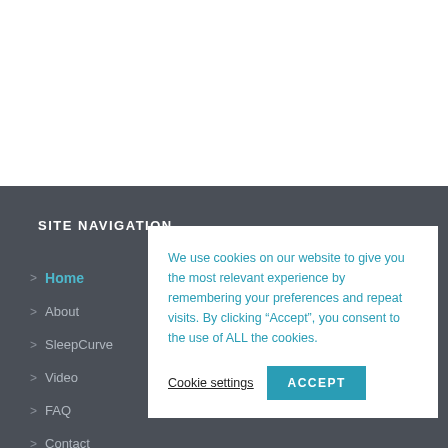SITE NAVIGATION
> Home
> About
> SleepCurve
> Video
> FAQ
> Contact
We use cookies on our website to give you the most relevant experience by remembering your preferences and repeat visits. By clicking “Accept”, you consent to the use of ALL the cookies.
Cookie settings  ACCEPT